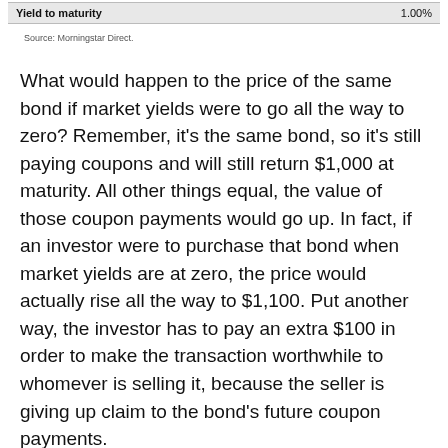| Yield to maturity | 1.00% |
| --- | --- |
Source: Morningstar Direct.
What would happen to the price of the same bond if market yields were to go all the way to zero? Remember, it's the same bond, so it's still paying coupons and will still return $1,000 at maturity. All other things equal, the value of those coupon payments would go up. In fact, if an investor were to purchase that bond when market yields are at zero, the price would actually rise all the way to $1,100. Put another way, the investor has to pay an extra $100 in order to make the transaction worthwhile to whomever is selling it, because the seller is giving up claim to the bond's future coupon payments.
New Perspectives on